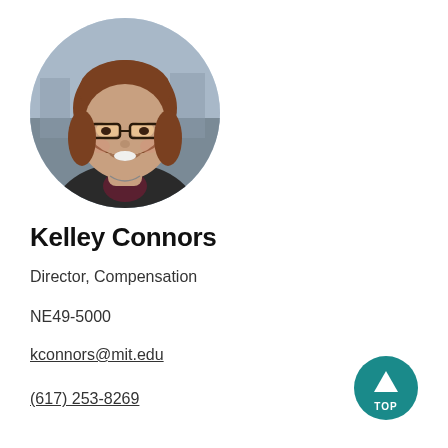[Figure (photo): Circular headshot portrait of Kelley Connors, a woman with shoulder-length reddish-brown hair and bangs, wearing dark-rimmed glasses and a dark blazer, smiling, with an outdoor background.]
Kelley Connors
Director, Compensation
NE49-5000
kconnors@mit.edu
(617) 253-8269
[Figure (illustration): Teal circular button with white upward-pointing triangle and the text TOP in white letters.]